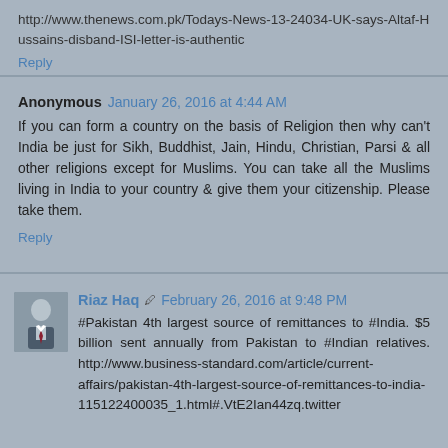http://www.thenews.com.pk/Todays-News-13-24034-UK-says-Altaf-Hussains-disband-ISI-letter-is-authentic
Reply
Anonymous  January 26, 2016 at 4:44 AM
If you can form a country on the basis of Religion then why can't India be just for Sikh, Buddhist, Jain, Hindu, Christian, Parsi & all other religions except for Muslims. You can take all the Muslims living in India to your country & give them your citizenship. Please take them.
Reply
Riaz Haq  February 26, 2016 at 9:48 PM
#Pakistan 4th largest source of remittances to #India. $5 billion sent annually from Pakistan to #Indian relatives. http://www.business-standard.com/article/current-affairs/pakistan-4th-largest-source-of-remittances-to-india-115122400035_1.html#.VtE2Ian44zq.twitter